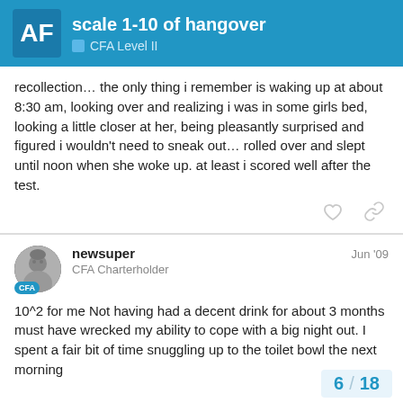scale 1-10 of hangover — CFA Level II
recollection… the only thing i remember is waking up at about 8:30 am, looking over and realizing i was in some girls bed, looking a little closer at her, being pleasantly surprised and figured i wouldn't need to sneak out… rolled over and slept until noon when she woke up. at least i scored well after the test.
newsuper  Jun '09
CFA Charterholder
10^2 for me Not having had a decent drink for about 3 months must have wrecked my ability to cope with a big night out. I spent a fair bit of time snuggling up to the toilet bowl the next morning
6 / 18